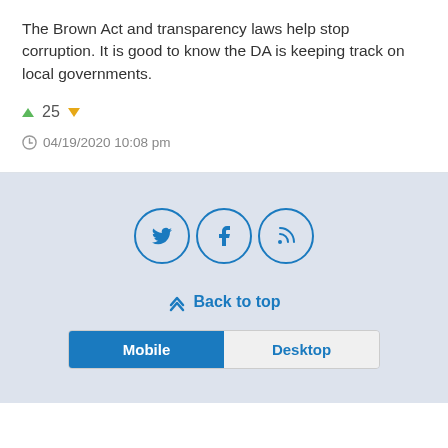The Brown Act and transparency laws help stop corruption. It is good to know the DA is keeping track on local governments.
▲ 25 ▼
04/19/2020 10:08 pm
[Figure (other): Social media icons: Twitter, Facebook, RSS — each in a blue-outlined circle]
Back to top
Mobile | Desktop toggle bar